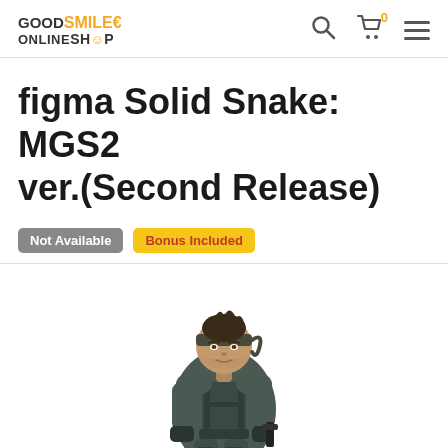GOOD SMILE € ONLINE SHOP — Search, Cart (0), Menu
figma Solid Snake: MGS2 ver.(Second Release)
Not Available  Bonus Included
[Figure (photo): Product photo of figma Solid Snake MGS2 ver. Second Release action figure, wearing dark tactical suit, holding a weapon, with distinctive bandana.]